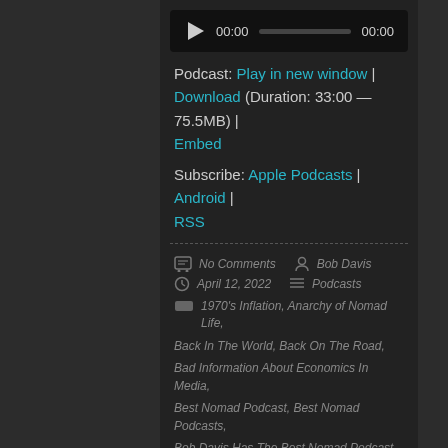[Figure (screenshot): Audio player with play button, time display 00:00 and 00:00, and a progress bar]
Podcast: Play in new window | Download (Duration: 33:00 — 75.5MB) | Embed
Subscribe: Apple Podcasts | Android | RSS
No Comments  Bob Davis  April 12, 2022  Podcasts
1970's Inflation, Anarchy of Nomad Life, Back In The World, Back On The Road, Bad Information About Economics In Media, Best Nomad Podcast, Best Nomad Podcasts, Bob Davis Has The Best Nomad Podcast, boomer nomads, Causes Of Inflation In One Place, Community of Nomad RV'rs, Covid Mitigation, Current Inflation, Defending Nomad Life, digital nomad,